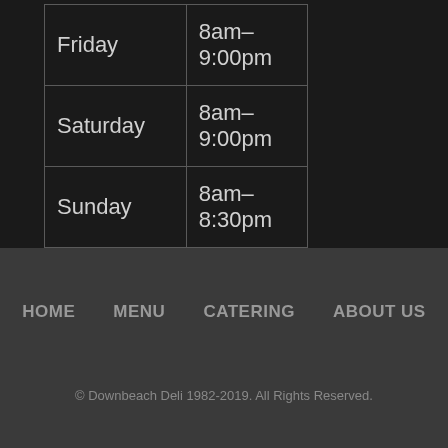| Friday | 8am–9:00pm |
| Saturday | 8am–9:00pm |
| Sunday | 8am–8:30pm |
HOME    MENU    CATERING    ABOUT US
© Downbeach Deli 1982-2019. All Rights Reserved.